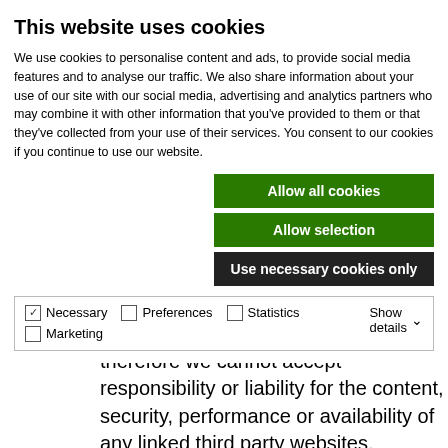This website uses cookies
We use cookies to personalise content and ads, to provide social media features and to analyse our traffic. We also share information about your use of our site with our social media, advertising and analytics partners who may combine it with other information that you've provided to them or that they've collected from your use of their services. You consent to our cookies if you continue to use our website.
Allow all cookies
Allow selection
Use necessary cookies only
Necessary  Preferences  Statistics  Marketing  Show details
such third party websites, and therefore we cannot accept responsibility or liability for the content, security, performance or availability of any linked third party websites.
It is your responsibility to check such third party website terms